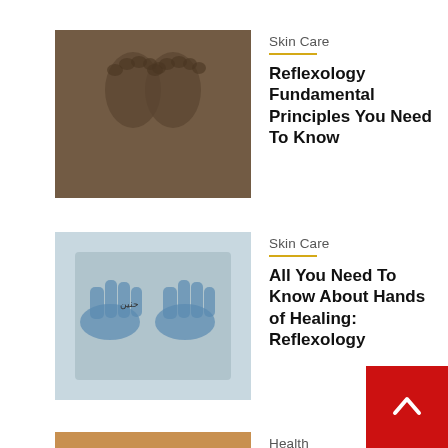[Figure (photo): Close-up photo of foot prints in sand/dirt]
Skin Care
Reflexology Fundamental Principles You Need To Know
[Figure (photo): Blue hand prints on a tile or stone surface]
Skin Care
All You Need To Know About Hands of Healing: Reflexology
[Figure (photo): Pregnant woman with fruits and vegetables]
Health
High Blood Cholesterol – Risk and Levels
[Figure (photo): Woman doing yoga in an office or indoor setting]
Yoga
Office Yoga Poses for Beginners –